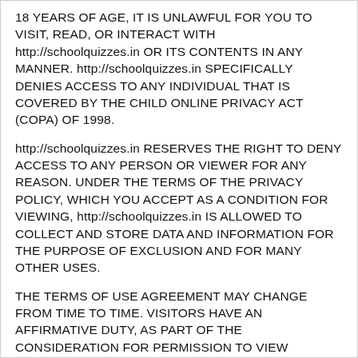18 YEARS OF AGE, IT IS UNLAWFUL FOR YOU TO VISIT, READ, OR INTERACT WITH http://schoolquizzes.in OR ITS CONTENTS IN ANY MANNER. http://schoolquizzes.in SPECIFICALLY DENIES ACCESS TO ANY INDIVIDUAL THAT IS COVERED BY THE CHILD ONLINE PRIVACY ACT (COPA) OF 1998.
http://schoolquizzes.in RESERVES THE RIGHT TO DENY ACCESS TO ANY PERSON OR VIEWER FOR ANY REASON. UNDER THE TERMS OF THE PRIVACY POLICY, WHICH YOU ACCEPT AS A CONDITION FOR VIEWING, http://schoolquizzes.in IS ALLOWED TO COLLECT AND STORE DATA AND INFORMATION FOR THE PURPOSE OF EXCLUSION AND FOR MANY OTHER USES.
THE TERMS OF USE AGREEMENT MAY CHANGE FROM TIME TO TIME. VISITORS HAVE AN AFFIRMATIVE DUTY, AS PART OF THE CONSIDERATION FOR PERMISSION TO VIEW http://schoolquizzes.in, TO KEEP